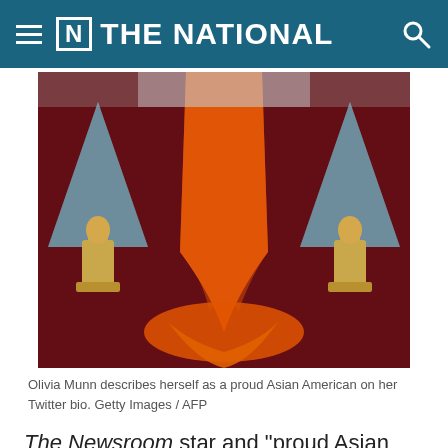THE NATIONAL
[Figure (photo): Close-up photo of an orange gown trailing on a dark red carpet at what appears to be the Oscars, with gold Oscar statuettes and blue triangular decorations visible in the background.]
Olivia Munn describes herself as a proud Asian American on her Twitter bio. Getty Images / AFP
The Newsroom star and "proud Asian American", as her Twitter bio states, has repeatedly spoken out against anti-Asian rhetoric in the past.